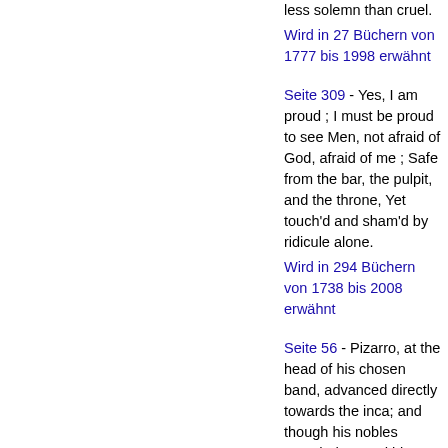less solemn than cruel.
Wird in 27 Büchern von 1777 bis 1998 erwähnt
Seite 309 - Yes, I am proud ; I must be proud to see Men, not afraid of God, afraid of me ; Safe from the bar, the pulpit, and the throne, Yet touch'd and sham'd by ridicule alone.
Wird in 294 Büchern von 1738 bis 2008 erwähnt
Seite 56 - Pizarro, at the head of his chosen band, advanced directly towards the inca; and though his nobles crowded around him with officious zeal, and fell in numbers at his foot,